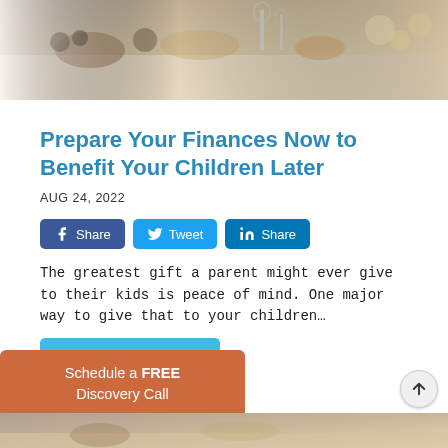[Figure (photo): Photo of an elegant dining table set with food, glasses, candles, and decorative items]
Prepare Your Finances Now to Benefit Your Children Later
AUG 24, 2022
Share Tweet Share (social media buttons)
The greatest gift a parent might ever give to their kids is peace of mind. One major way to give that to your children…
Schedule a FREE Discovery Call
[Figure (photo): Partial bottom image, appears to be another dining/lifestyle photo]